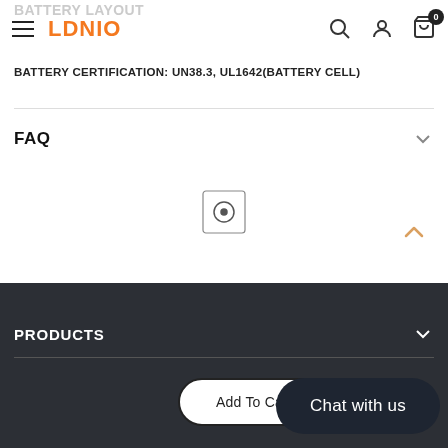LDNIO
BATTERY CERTIFICATION: UN38.3, UL1642(BATTERY CELL)
FAQ
[Figure (other): Video play button icon (circle with dot)]
PRODUCTS
Add To Cart
Chat with us